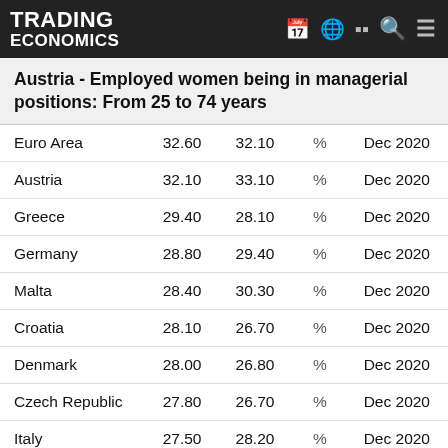TRADING ECONOMICS
Austria - Employed women being in managerial positions: From 25 to 74 years
| Country | Value1 | Value2 | Unit | Date |
| --- | --- | --- | --- | --- |
| Euro Area | 32.60 | 32.10 | % | Dec 2020 |
| Austria | 32.10 | 33.10 | % | Dec 2020 |
| Greece | 29.40 | 28.10 | % | Dec 2020 |
| Germany | 28.80 | 29.40 | % | Dec 2020 |
| Malta | 28.40 | 30.30 | % | Dec 2020 |
| Croatia | 28.10 | 26.70 | % | Dec 2020 |
| Denmark | 28.00 | 26.80 | % | Dec 2020 |
| Czech Republic | 27.80 | 26.70 | % | Dec 2020 |
| Italy | 27.50 | 28.20 | % | Dec 2020 |
| Netherlands | ... | ... | % | Dec 2020 |